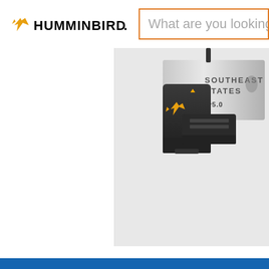[Figure (logo): Humminbird brand logo with yellow hummingbird icon and bold text HUMMINBIRD. with a period]
What are you looking
[Figure (photo): Humminbird SD card product photo showing a dark gray SD memory card with yellow hummingbird logo, labeled SOUTHEAST STATES v5.0, partially inserted into a card reader or device]